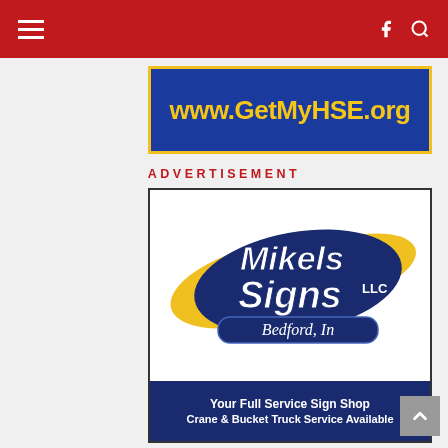Navigation bar with hamburger menu, Facebook icon, and search icon
[Figure (other): Blue banner with yellow text reading www.GetMyHSE.org]
ADVERTISEMENT
[Figure (logo): Mikels Signs LLC, Bedford, In logo — stylized text on dark blue oval with yellow swoosh shapes, phone number (812) 277-0000, tagline: Your Full Service Sign Shop, Crane & Bucket Truck Service Available]